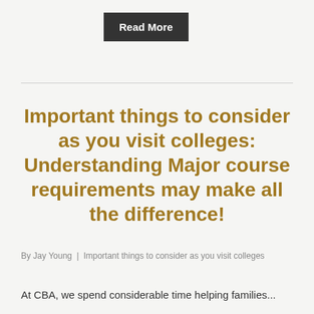Read More
Important things to consider as you visit colleges: Understanding Major course requirements may make all the difference!
By Jay Young | Important things to consider as you visit colleges
At CBA, we spend considerable time helping families...